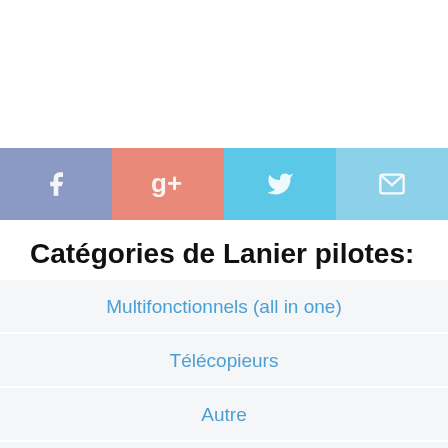[Figure (infographic): Social sharing buttons: Facebook (purple), Google+ (salmon/red), Twitter (light blue), Email (light blue)]
Catégories de Lanier pilotes:
Multifonctionnels (all in one)
Télécopieurs
Autre
Imprimantes